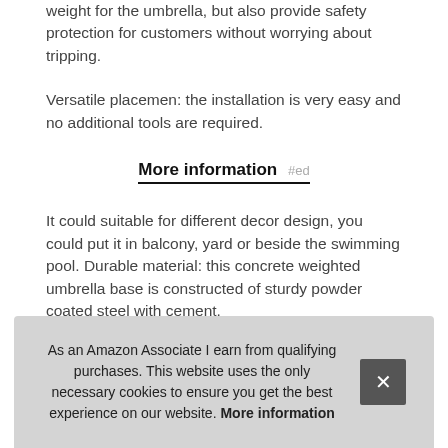weight for the umbrella, but also provide safety protection for customers without worrying about tripping.
Versatile placemen: the installation is very easy and no additional tools are required.
More information #ed
It could suitable for different decor design, you could put it in balcony, yard or beside the swimming pool. Durable material: this concrete weighted umbrella base is constructed of sturdy powder coated steel with cement.
It has good solidity and would not let the umbrella tilt easily. Adju... tigh... to e... umb...
As an Amazon Associate I earn from qualifying purchases. This website uses the only necessary cookies to ensure you get the best experience on our website. More information